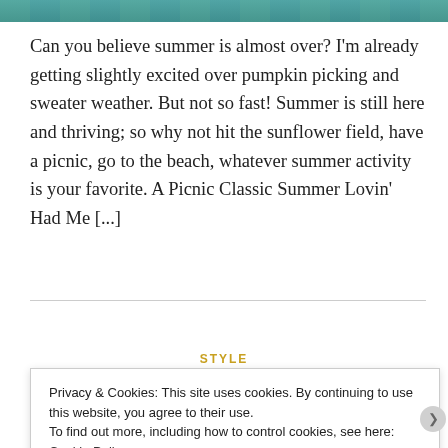[Figure (photo): Partial view of a photo strip at the top of the page showing blue and green tones, possibly an outdoor summer scene.]
Can you believe summer is almost over? I'm already getting slightly excited over pumpkin picking and sweater weather. But not so fast! Summer is still here and thriving; so why not hit the sunflower field, have a picnic, go to the beach, whatever summer activity is your favorite. A Picnic Classic Summer Lovin' Had Me [...]
STYLE
Privacy & Cookies: This site uses cookies. By continuing to use this website, you agree to their use.
To find out more, including how to control cookies, see here: Cookie Policy

Close and accept